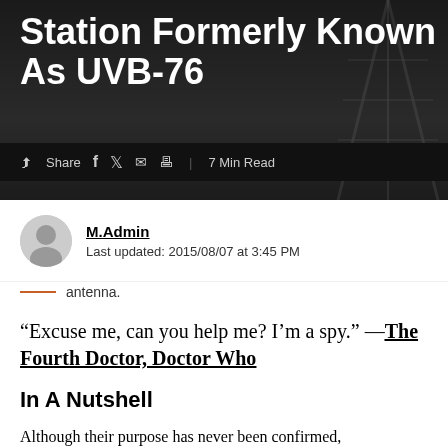Station Formerly Known As UVB-76
Share | 7 Min Read
M.Admin
Last updated: 2015/08/07 at 3:45 PM
antenna.
“Excuse me, can you help me? I’m a spy.” —The Fourth Doctor, Doctor Who
In A Nutshell
Although their purpose has never been confirmed,